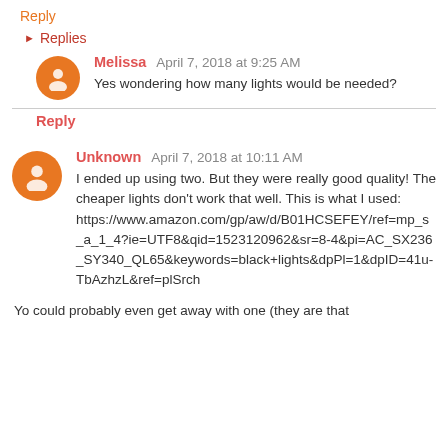Reply
▸ Replies
Melissa April 7, 2018 at 9:25 AM
Yes wondering how many lights would be needed?
Reply
Unknown April 7, 2018 at 10:11 AM
I ended up using two. But they were really good quality! The cheaper lights don't work that well. This is what I used:
https://www.amazon.com/gp/aw/d/B01HCSEFEY/ref=mp_s_a_1_4?ie=UTF8&qid=1523120962&sr=8-4&pi=AC_SX236_SY340_QL65&keywords=black+lights&dpPl=1&dpID=41u-TbAzhzL&ref=plSrch
Yo could probably even get away with one (they are that